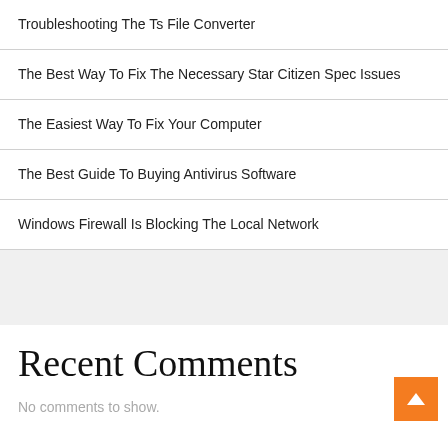Troubleshooting The Ts File Converter
The Best Way To Fix The Necessary Star Citizen Spec Issues
The Easiest Way To Fix Your Computer
The Best Guide To Buying Antivirus Software
Windows Firewall Is Blocking The Local Network
Recent Comments
No comments to show.